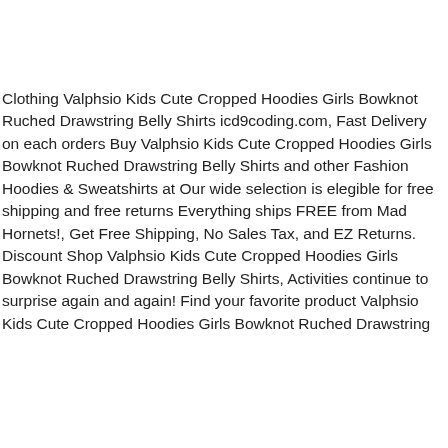Clothing Valphsio Kids Cute Cropped Hoodies Girls Bowknot Ruched Drawstring Belly Shirts icd9coding.com, Fast Delivery on each orders Buy Valphsio Kids Cute Cropped Hoodies Girls Bowknot Ruched Drawstring Belly Shirts and other Fashion Hoodies & Sweatshirts at Our wide selection is elegible for free shipping and free returns Everything ships FREE from Mad Hornets!, Get Free Shipping, No Sales Tax, and EZ Returns. Discount Shop Valphsio Kids Cute Cropped Hoodies Girls Bowknot Ruched Drawstring Belly Shirts, Activities continue to surprise again and again! Find your favorite product Valphsio Kids Cute Cropped Hoodies Girls Bowknot Ruched Drawstring